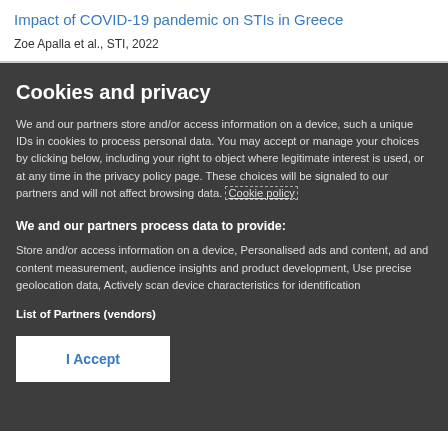Impact of COVID-19 pandemic on STIs in Greece
Zoe Apalla et al., STI, 2022
Cookies and privacy
We and our partners store and/or access information on a device, such a unique IDs in cookies to process personal data. You may accept or manage your choices by clicking below, including your right to object where legitimate interest is used, or at any time in the privacy policy page. These choices will be signaled to our partners and will not affect browsing data. Cookie policy
We and our partners process data to provide:
Store and/or access information on a device, Personalised ads and content, ad and content measurement, audience insights and product development, Use precise geolocation data, Actively scan device characteristics for identification
List of Partners (vendors)
I Accept